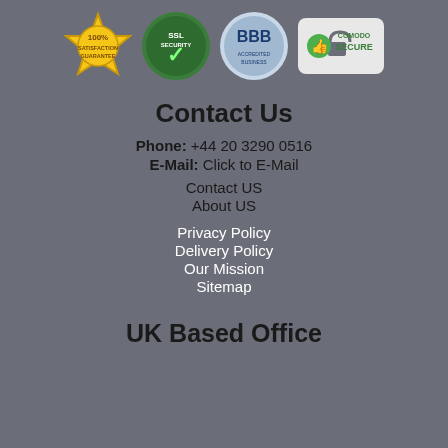[Figure (illustration): Row of four trust/security badge icons: 100% Satisfaction Guarantee (gold star badge), SSL Security (green badge with checkmark), BBB (blue circle badge), Comodo Secure (lock with thumbs up badge)]
Contact Us
Phone: +44 20 3290 0516
E-Mail: Click to E-Mail
Contact US
About US
Privacy Policy
Delivery Policy
Our Mission
Sitemap
UK Based Office